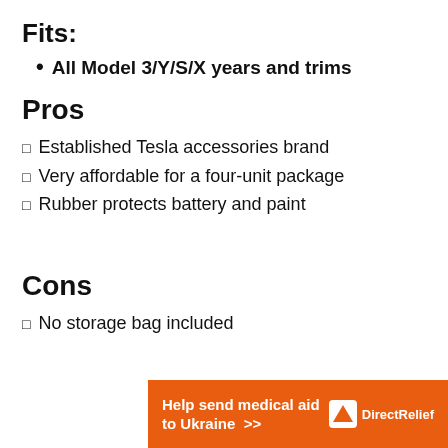Fits:
All Model 3/Y/S/X years and trims
Pros
Established Tesla accessories brand
Very affordable for a four-unit package
Rubber protects battery and paint
Cons
No storage bag included
[Figure (infographic): Orange advertisement banner for Direct Relief: 'Help send medical aid to Ukraine >>' with Direct Relief logo]